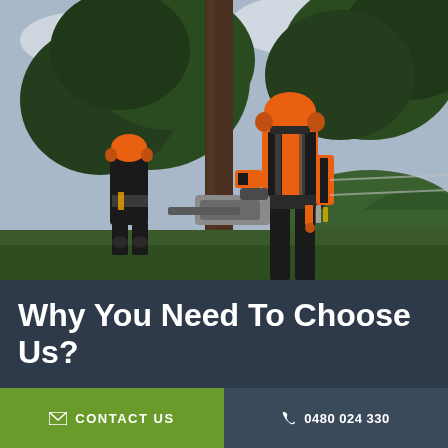[Figure (photo): Two arborists/tree workers in orange safety helmets and high-visibility orange and black protective gear standing near a large tree. The right worker holds a chainsaw and has equipment hanging from a belt harness. Background shows green trees and an overcast sky.]
Why You Need To Choose Us?
CONTACT US
0480 024 330